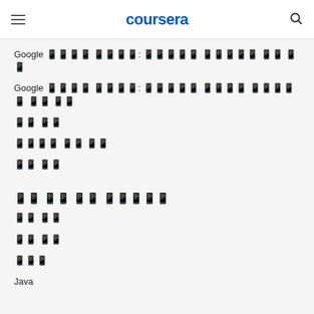coursera
Google 데이터 애널: 데이터를 통한한 의사 결정
Google 데이터 애널: 데이터를 통한 스프레 의사 결정
데이터 분석
스프레드시트 사용 방법
데이터 시각화
관련 주제 검색 키워드
데이터 분석
데이터 과학
머신러닝
Java